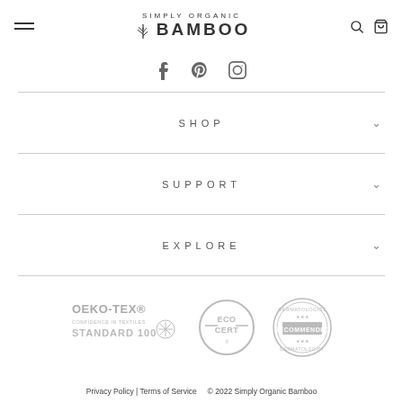Simply Organic Bamboo
[Figure (logo): Simply Organic Bamboo logo with bamboo leaf icon, hamburger menu, search and cart icons]
[Figure (infographic): Social media icons: Facebook, Pinterest, Instagram]
SHOP
SUPPORT
EXPLORE
[Figure (logo): Three certification logos: OEKO-TEX Standard 100, EcoCert, Dermatologist Recommended]
Privacy Policy | Terms of Service   © 2022 Simply Organic Bamboo